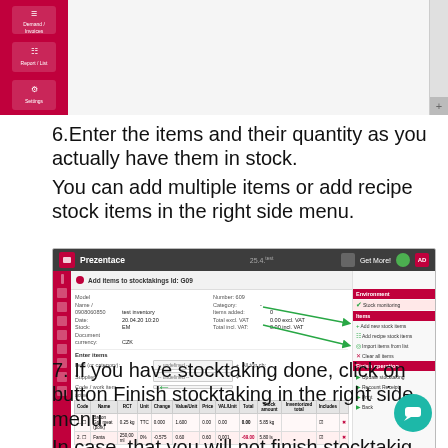[Figure (screenshot): Top portion of a software application interface showing a left sidebar with red background and menu icons]
6.Enter the items and their quantity as you actually have them in stock.
You can add multiple items or add recipe stock items in the right side menu.
[Figure (screenshot): Screenshot of Prezentace stocktaking software showing 'Add items to stocktakings Id: G09' interface with form fields, item table with two rows, and right side panel menu with options including 'Finish stocktaking', 'Add new stock items', 'Add recipe stock items'. Two green arrows point to right-side menu buttons and one points to a dropdown field.]
7. If you have stocktaking done, click on button Finish stocktaking in the right side menu.
In case, that you will not finish stocktakig, it is